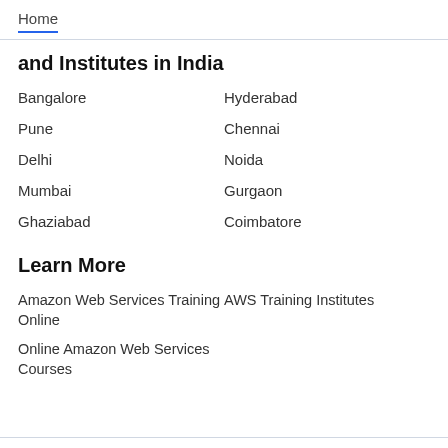Home
and Institutes in India
Bangalore
Hyderabad
Pune
Chennai
Delhi
Noida
Mumbai
Gurgaon
Ghaziabad
Coimbatore
Learn More
Amazon Web Services Training Online
AWS Training Institutes
Online Amazon Web Services Courses